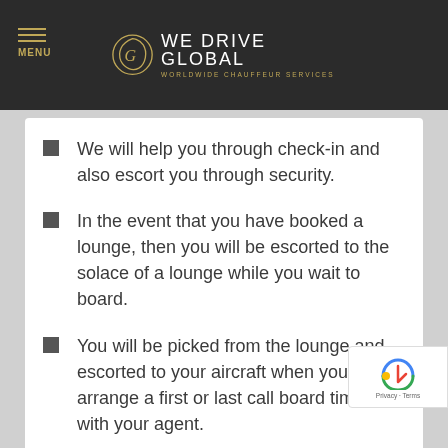MENU | WE DRIVE GLOBAL WORLDWIDE CHAUFFEUR SERVICES
We will help you through check-in and also escort you through security.
In the event that you have booked a lounge, then you will be escorted to the solace of a lounge while you wait to board.
You will be picked from the lounge and escorted to your aircraft when you arrange a first or last call board time with your agent.